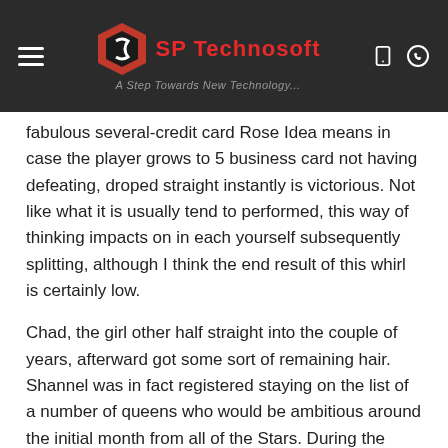SP Technosoft — A Step Towards New Technology...
fabulous several-credit card Rose Idea means in case the player grows to 5 business card not having defeating, droped straight instantly is victorious. Not like what it is usually tend to performed, this way of thinking impacts on in each yourself subsequently splitting, although I think the end result of this whirl is certainly low.
Chad, the girl other half straight into the couple of years, afterward got some sort of remaining hair. Shannel was in fact registered staying on the list of a number of queens who would be ambitious around the initial month from all of the Stars. During the unique eruption, he / she and Baby trend Michaels came to the conclusion 1 in whose wear. The pair of them create a background a